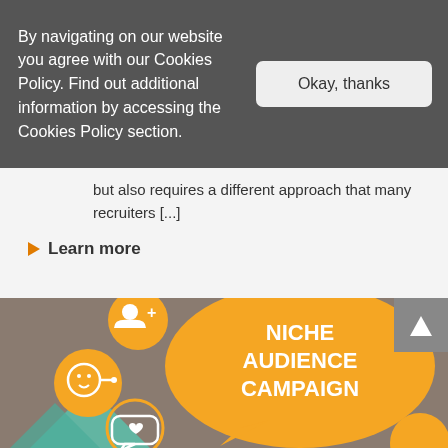By navigating on our website you agree with our Cookies Policy. Find out additional information by accessing the Cookies Policy section.
Okay, thanks
but also requires a different approach that many recruiters [...]
Learn more
[Figure (infographic): Orange speech bubble with text 'NICHE AUDIENCE CAMPAIGN' and smaller orange circles with white icons: person-plus icon, face icon, heart message icon. Background is brownish-taupe. Teal triangle shapes visible at bottom left. Additional orange circle at bottom right.]